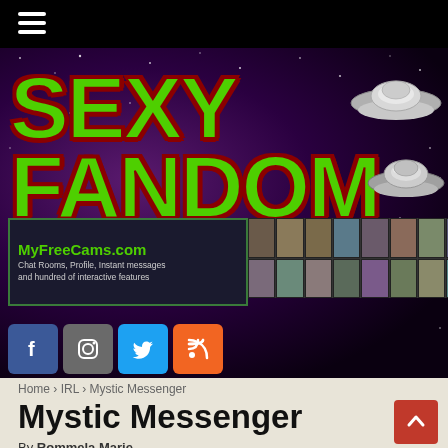[Figure (screenshot): Website header banner for 'Sexy Fandom' with large green text on a purple/space background with UFO images, an advertisement for MyFreeCams.com, and social media icons (Facebook, Instagram, Twitter, RSS).]
Home > IRL > Mystic Messenger
Mystic Messenger
By Rommela Marie